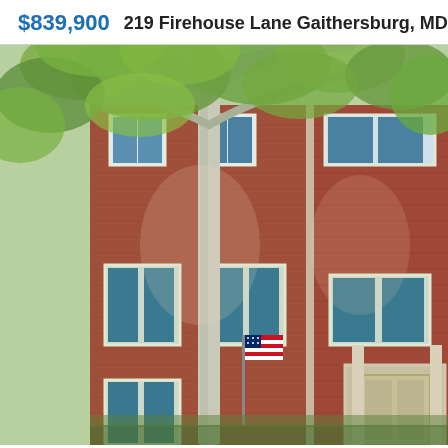$839,900   219 Firehouse Lane Gaithersburg, MD 20878
[Figure (photo): Exterior front view of a multi-story red brick townhouse with teal/blue shutters, white-trimmed windows, an American flag on a pole, and a large sycamore tree in the foreground. The home has a cream/tan front door visible on the right side.]